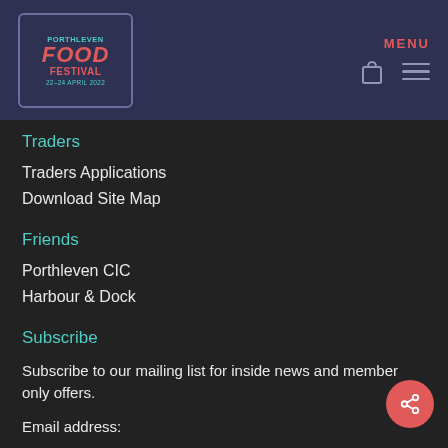[Figure (logo): Porthleven Food Festival logo with teal and red text on dark purple background with border]
MENU
Traders
Traders Applications
Download Site Map
Friends
Porthleven CIC
Harbour & Dock
Subscribe
Subscribe to our mailing list for inside news and member only offers.
Email address: